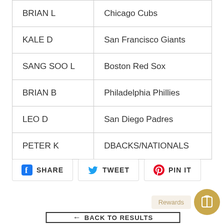| BRIAN L | Chicago Cubs |
| KALE D | San Francisco Giants |
| SANG SOO L | Boston Red Sox |
| BRIAN B | Philadelphia Phillies |
| LEO D | San Diego Padres |
| PETER K | DBACKS/NATIONALS |
SHARE  TWEET  PIN IT
Rewards
BACK TO RESULTS